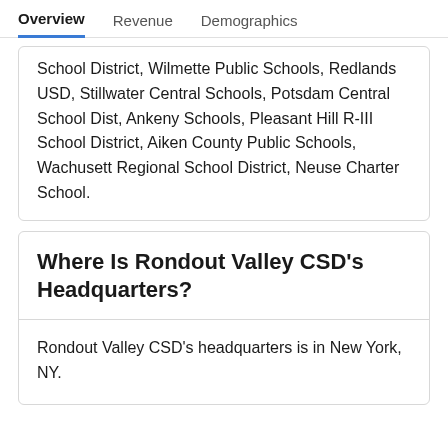Overview  Revenue  Demographics
School District, Wilmette Public Schools, Redlands USD, Stillwater Central Schools, Potsdam Central School Dist, Ankeny Schools, Pleasant Hill R-III School District, Aiken County Public Schools, Wachusett Regional School District, Neuse Charter School.
Where Is Rondout Valley CSD's Headquarters?
Rondout Valley CSD's headquarters is in New York, NY.